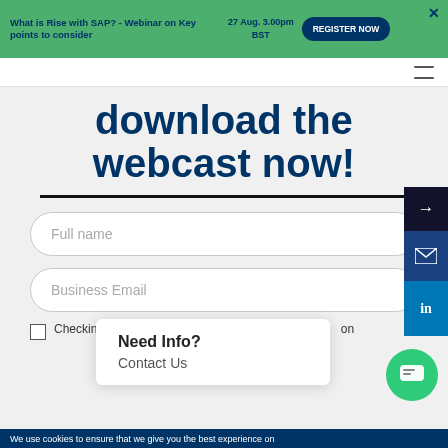What is Rise with SAP? - Webinar on Key points to consider  27 Aug. 3.00pm BST  REGISTER NOW
download the webcast now!
Full name
Business Email
Checking th... understand a... on
Need Info?
Contact Us
We use cookies to ensure that we give you the best experience on